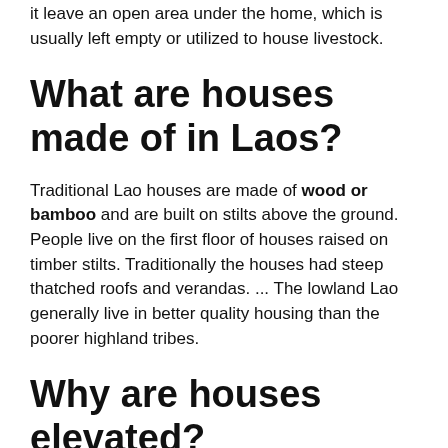it leave an open area under the home, which is usually left empty or utilized to house livestock.
What are houses made of in Laos?
Traditional Lao houses are made of wood or bamboo and are built on stilts above the ground. People live on the first floor of houses raised on timber stilts. Traditionally the houses had steep thatched roofs and verandas. ... The lowland Lao generally live in better quality housing than the poorer highland tribes.
Why are houses elevated?